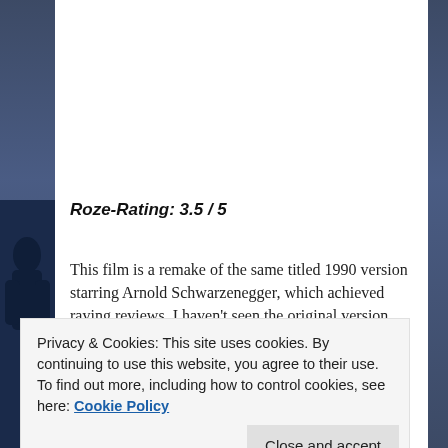[Figure (photo): Movie still showing a man in a green shirt holding a large weapon, dark cinematic scene with blurred background]
Roze-Rating: 3.5 / 5
This film is a remake of the same titled 1990 version starring Arnold Schwarzenegger, which achieved raving reviews. I haven't seen the original version but from research the remake covers most of the events which take place in the original, except for a significant mars scene. The remake also focuses more on the political side of the story. It takes place at the end of the 21st
Privacy & Cookies: This site uses cookies. By continuing to use this website, you agree to their use.
To find out more, including how to control cookies, see here: Cookie Policy